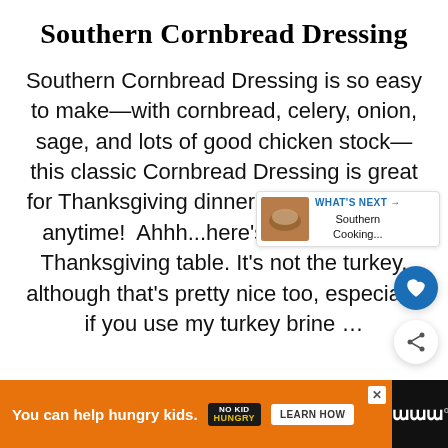Southern Cornbread Dressing
Southern Cornbread Dressing is so easy to make—with cornbread, celery, onion, sage, and lots of good chicken stock—this classic Cornbread Dressing is great for Thanksgiving dinner or as a side dish anytime!  Ahhh...here's the star of the Thanksgiving table. It's not the turkey, although that's pretty nice too, especially if you use my turkey brine …
You can help hungry kids. NO KID HUNGRY LEARN HOW